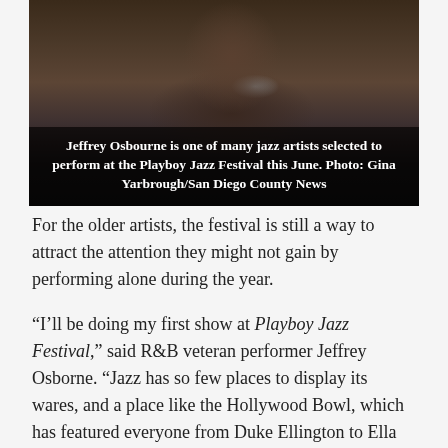[Figure (photo): A man (Jeffrey Osbourne) speaking into a microphone, photographed at an event. The lower portion of the image has a dark overlay with a caption.]
Jeffrey Osbourne is one of many jazz artists selected to perform at the Playboy Jazz Festival this June. Photo: Gina Yarbrough/San Diego County News
For the older artists, the festival is still a way to attract the attention they might not gain by performing alone during the year.
“I’ll be doing my first show at Playboy Jazz Festival,” said R&B veteran performer Jeffrey Osborne. “Jazz has so few places to display its wares, and a place like the Hollywood Bowl, which has featured everyone from Duke Ellington to Ella Fitzgerald, is an important